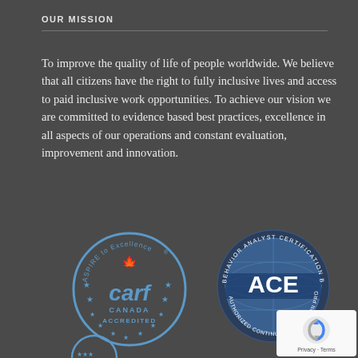OUR MISSION
To improve the quality of life of people worldwide. We believe that all citizens have the right to fully inclusive lives and access to paid inclusive work opportunities. To achieve our vision we are committed to evidence based best practices, excellence in all aspects of our operations and constant evaluation, improvement and innovation.
[Figure (logo): CARF Canada Accredited badge - ASPIRE to Excellence circular logo with stars and maple leaf]
[Figure (logo): Behavior Analyst Certification Board ACE - Authorized Continuing Education Provider circular badge with globe]
[Figure (logo): Partial circular badge visible at bottom left]
[Figure (screenshot): Google reCAPTCHA widget with Privacy and Terms links]